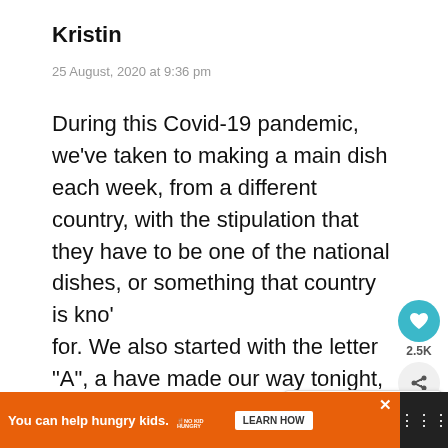Kristin
25 August, 2020 at 9:36 pm
During this Covid-19 pandemic, we’ve taken to making a main dish each week, from a different country, with the stipulation that they have to be one of the national dishes, or something that country is kno’‘ for. We also started with the letter “A”, a have made our way tonight, to the l••••— “F”. This curry was absolutely amazing. Even the teen who doesn’t like fish said we c•••••••••••••••••••h
[Figure (screenshot): Heart icon button (teal) with 2.5K count and share button]
[Figure (infographic): What's Next panel: Curry Doria (Japanese...)]
[Figure (screenshot): Ad banner: You can help hungry kids. No Kid Hungry. Learn How.]